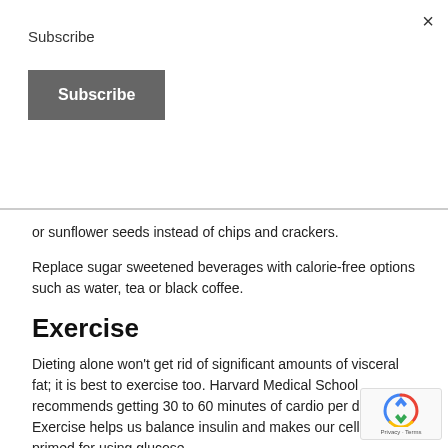×
Subscribe
Subscribe
or sunflower seeds instead of chips and crackers.
Replace sugar sweetened beverages with calorie-free options such as water, tea or black coffee.
Exercise
Dieting alone won't get rid of significant amounts of visceral fat; it is best to exercise too. Harvard Medical School recommends getting 30 to 60 minutes of cardio per day. Exercise helps us balance insulin and makes our cells more primed for using glucose.
Relax